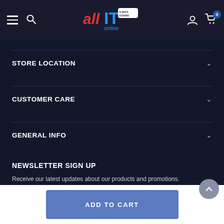allIT online navigation bar with hamburger menu, search, logo, user icon, and cart (0)
STORE LOCATION
CUSTOMER CARE
GENERAL INFO
NEWSLETTER SIGN UP
Receive our latest updates about our products and promotions.
enter your email address
SUBSCRIBE
ADD TO CART